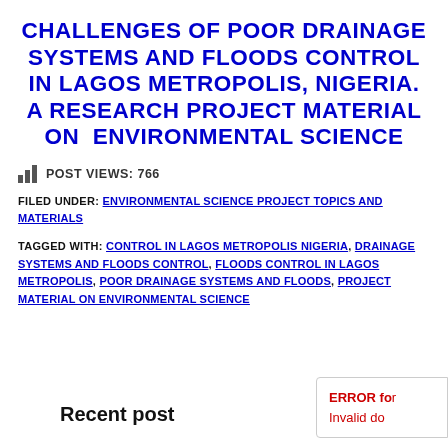CHALLENGES OF POOR DRAINAGE SYSTEMS AND FLOODS CONTROL IN LAGOS METROPOLIS, NIGERIA. A RESEARCH PROJECT MATERIAL ON ENVIRONMENTAL SCIENCE
POST VIEWS: 766
FILED UNDER: ENVIRONMENTAL SCIENCE PROJECT TOPICS AND MATERIALS
TAGGED WITH: CONTROL IN LAGOS METROPOLIS NIGERIA, DRAINAGE SYSTEMS AND FLOODS CONTROL, FLOODS CONTROL IN LAGOS METROPOLIS, POOR DRAINAGE SYSTEMS AND FLOODS, PROJECT MATERIAL ON ENVIRONMENTAL SCIENCE
Recent post
ERROR for Invalid do